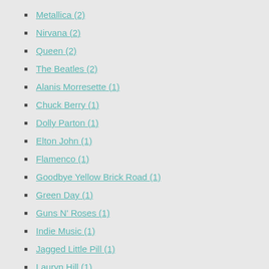Metallica (2)
Nirvana (2)
Queen (2)
The Beatles (2)
Alanis Morresette (1)
Chuck Berry (1)
Dolly Parton (1)
Elton John (1)
Flamenco (1)
Goodbye Yellow Brick Road (1)
Green Day (1)
Guns N' Roses (1)
Indie Music (1)
Jagged Little Pill (1)
Lauryn Hill (1)
Paco de Lucia (1)